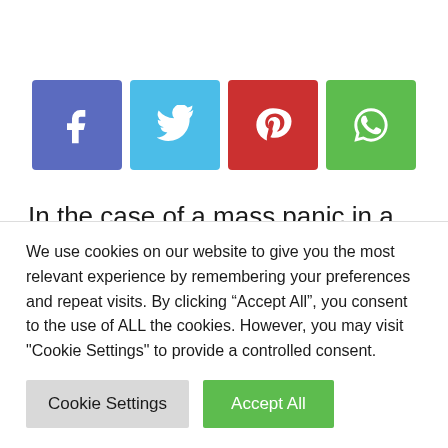[Figure (other): Social sharing buttons row: Facebook (blue-purple), Twitter (light blue), Pinterest (red), WhatsApp (green)]
In the case of a mass panic in a night club on the Italian Adriatic coast, five minors and a woman were killed. About 35 more people were injured on Saturday morning, informed the authorities. The Italian fire service and the news Agency Ansa
We use cookies on our website to give you the most relevant experience by remembering your preferences and repeat visits. By clicking “Accept All”, you consent to the use of ALL the cookies. However, you may visit "Cookie Settings" to provide a controlled consent.
Cookie Settings
Accept All